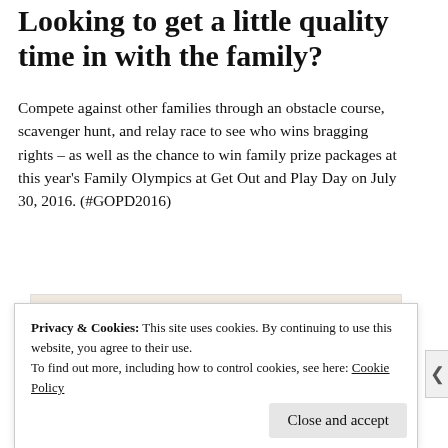Looking to get a little quality time in with the family?
Compete against other families through an obstacle course, scavenger hunt, and relay race to see who wins bragging rights – as well as the chance to win family prize packages at this year's Family Olympics at Get Out and Play Day on July 30, 2016. (#GOPD2016)
[Figure (other): Partial advertisement banner showing text 'and on a budget?' with a circular icon, and 'REPORT THIS AD' label]
Privacy & Cookies: This site uses cookies. By continuing to use this website, you agree to their use.
To find out more, including how to control cookies, see here: Cookie Policy
Close and accept